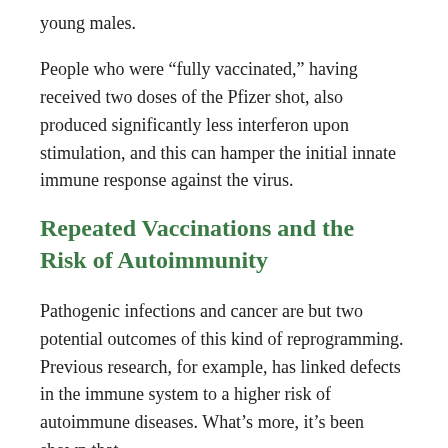young males.
People who were “fully vaccinated,” having received two doses of the Pfizer shot, also produced significantly less interferon upon stimulation, and this can hamper the initial innate immune response against the virus.
Repeated Vaccinations and the Risk of Autoimmunity
Pathogenic infections and cancer are but two potential outcomes of this kind of reprogramming. Previous research, for example, has linked defects in the immune system to a higher risk of autoimmune diseases. What’s more, it’s been shown that